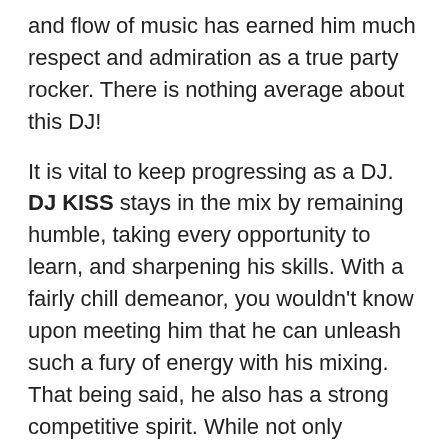and flow of music has earned him much respect and admiration as a true party rocker. There is nothing average about this DJ!
It is vital to keep progressing as a DJ. DJ KISS stays in the mix by remaining humble, taking every opportunity to learn, and sharpening his skills. With a fairly chill demeanor, you wouldn't know upon meeting him that he can unleash such a fury of energy with his mixing. That being said, he also has a strong competitive spirit. While not only entering many of his mixes in online competitions (earning him a top five designation from Beezo.net-judged by DJ Vice), he captured the 2008 Primary Blends Vinyl Elimination Title where he competed against some of the top mix/scratch DJs in New Mexico. In 2012 he placed 3rd in the 1st Annual Envy Nightlife Battle of the DJs which again he went up against New Mexico's best!
Recently KISS was selected to perform for the 2013 Native Nations Inauguration Ball for President Barack Obama in